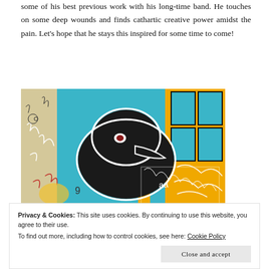some of his best previous work with his long-time band. He touches on some deep wounds and finds cathartic creative power amidst the pain. Let's hope that he stays this inspired for some time to come!
[Figure (illustration): Colorful graffiti-style artwork featuring a large dark bird/creature figure with a white outline against a vibrant teal and orange background with abstract scrawled markings and symbols.]
Privacy & Cookies: This site uses cookies. By continuing to use this website, you agree to their use.
To find out more, including how to control cookies, see here: Cookie Policy